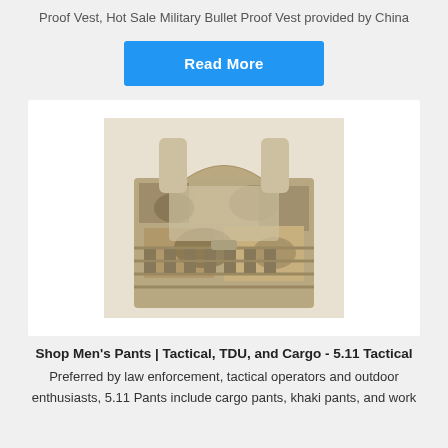Proof Vest, Hot Sale Military Bullet Proof Vest provided by China
Read More
[Figure (photo): Military bullet proof vest in desert camouflage pattern with MOLLE webbing and shoulder straps, photographed on white background]
Shop Men's Pants | Tactical, TDU, and Cargo - 5.11 Tactical
Preferred by law enforcement, tactical operators and outdoor enthusiasts, 5.11 Pants include cargo pants, khaki pants, and work